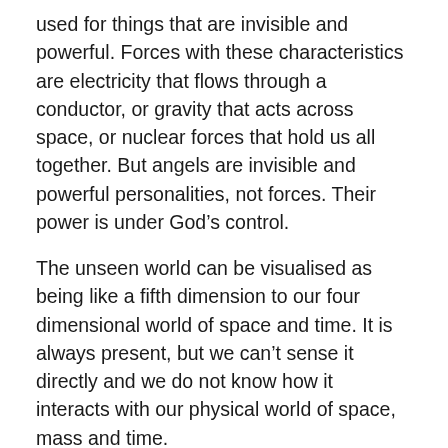used for things that are invisible and powerful.  Forces with these characteristics are electricity that flows through a conductor, or gravity that acts across space, or nuclear forces that hold us all together.  But angels are invisible and powerful personalities, not forces.  Their power is under God’s control.
The unseen world can be visualised as being like a fifth dimension to our four dimensional world of space and time.  It is always present, but we can’t sense it directly and we do not know how it interacts with our physical world of space, mass and time.
The unseen world is eternal, it will never end; “what is seen is temporary, but what is unseen is eternal” (2 Cor. 4:18 NIV).  Angels are immortal (Lk. 20:36).  Also, the two natures of good and evil, or the divine and the sinful, are